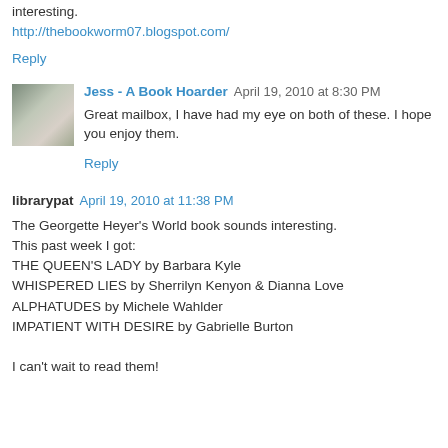interesting.
http://thebookworm07.blogspot.com/
Reply
Jess - A Book Hoarder  April 19, 2010 at 8:30 PM
Great mailbox, I have had my eye on both of these. I hope you enjoy them.
Reply
librarypat  April 19, 2010 at 11:38 PM
The Georgette Heyer's World book sounds interesting.
This past week I got:
THE QUEEN'S LADY by Barbara Kyle
WHISPERED LIES by Sherrilyn Kenyon & Dianna Love
ALPHATUDES by Michele Wahlder
IMPATIENT WITH DESIRE by Gabrielle Burton

I can't wait to read them!